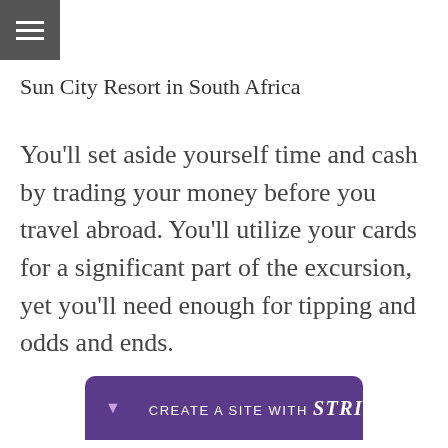[Figure (other): Hamburger menu icon button with three horizontal white lines on a dark gray square background]
Sun City Resort in South Africa
You'll set aside yourself time and cash by trading your money before you travel abroad. You'll utilize your cards for a significant part of the excursion, yet you'll need enough for tipping and odds and ends.
[Figure (other): Strikingly website builder banner: purple rounded bar with downward arrow, divider, text 'CREATE A SITE WITH strikingly']